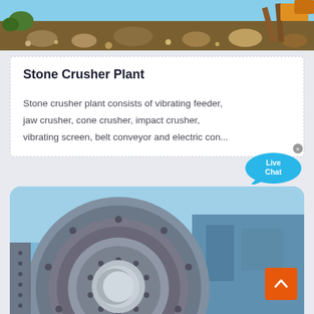[Figure (photo): Top portion of a stone crusher plant site showing construction materials, gravel, wooden frames and machinery parts]
Stone Crusher Plant
Stone crusher plant consists of vibrating feeder, jaw crusher, cone crusher, impact crusher, vibrating screen, belt conveyor and electric co...
[Figure (photo): Close-up photo of a large industrial ball mill or crusher drum with circular metal housing, showing the front opening, against a blue sky background]